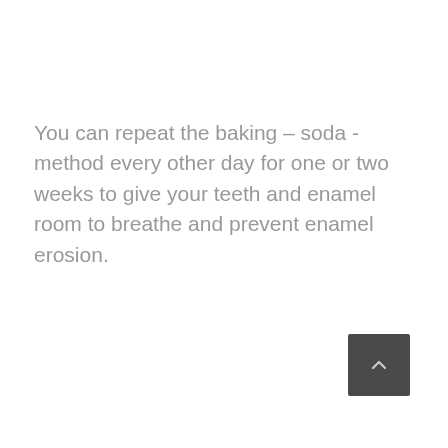You can repeat the baking – soda -method every other day for one or two weeks to give your teeth and enamel room to breathe and prevent enamel erosion.